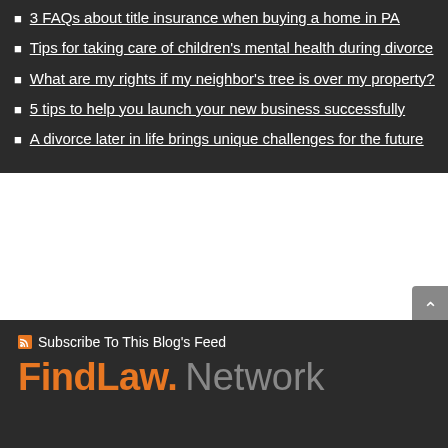3 FAQs about title insurance when buying a home in PA
Tips for taking care of children's mental health during divorce
What are my rights if my neighbor's tree is over my property?
5 tips to help you launch your new business successfully
A divorce later in life brings unique challenges for the future
Subscribe To This Blog's Feed
FindLaw. Network